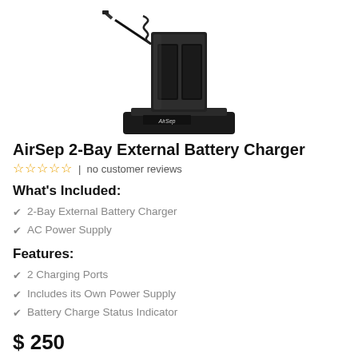[Figure (photo): Product photo of AirSep 2-Bay External Battery Charger, a dark/black device with a charging dock and spring-loaded connector on a square base with AirSep branding]
AirSep 2-Bay External Battery Charger
no customer reviews
What's Included:
2-Bay External Battery Charger
AC Power Supply
Features:
2 Charging Ports
Includes its Own Power Supply
Battery Charge Status Indicator
$ 250